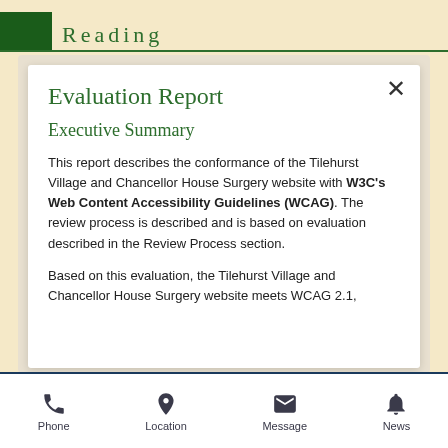Reading
Evaluation Report
Executive Summary
This report describes the conformance of the Tilehurst Village and Chancellor House Surgery website with W3C's Web Content Accessibility Guidelines (WCAG). The review process is described and is based on evaluation described in the Review Process section.
Based on this evaluation, the Tilehurst Village and Chancellor House Surgery website meets WCAG 2.1,
Phone  Location  Message  News